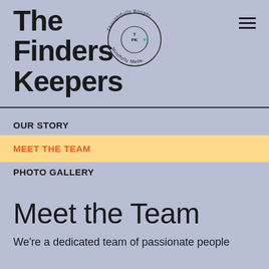The Finders Keepers
[Figure (logo): Circular logo with text 'Thoughtfully Bought. Mindfully Made.' around the edge and 'TFK' monogram in the center]
OUR STORY
MEET THE TEAM
PHOTO GALLERY
Meet the Team
We're a dedicated team of passionate people